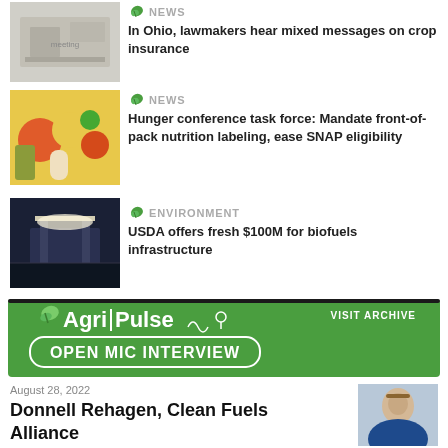[Figure (photo): People sitting at a table, meeting room setting]
NEWS
In Ohio, lawmakers hear mixed messages on crop insurance
[Figure (photo): Fruits, vegetables, and a glass of milk]
NEWS
Hunger conference task force: Mandate front-of-pack nutrition labeling, ease SNAP eligibility
[Figure (photo): Gas station at night with bright lights]
ENVIRONMENT
USDA offers fresh $100M for biofuels infrastructure
[Figure (logo): Agri-Pulse Open Mic Interview banner with green background and white text]
August 28, 2022
Donnell Rehagen, Clean Fuels Alliance
[Figure (photo): Headshot of Donnell Rehagen]